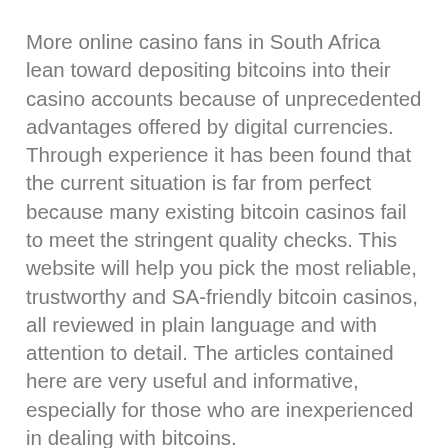More online casino fans in South Africa lean toward depositing bitcoins into their casino accounts because of unprecedented advantages offered by digital currencies. Through experience it has been found that the current situation is far from perfect because many existing bitcoin casinos fail to meet the stringent quality checks. This website will help you pick the most reliable, trustworthy and SA-friendly bitcoin casinos, all reviewed in plain language and with attention to detail. The articles contained here are very useful and informative, especially for those who are inexperienced in dealing with bitcoins.
Perhaps one of the most fascinating things about bitcoins is fast transactions between an online casino and customers. Very small transaction fees is another undeniable advantage of bitcoins. It is common practice for online casinos to impose a commission on incoming or outgoing payments but bitcoin transactions are free of this shortcoming. When